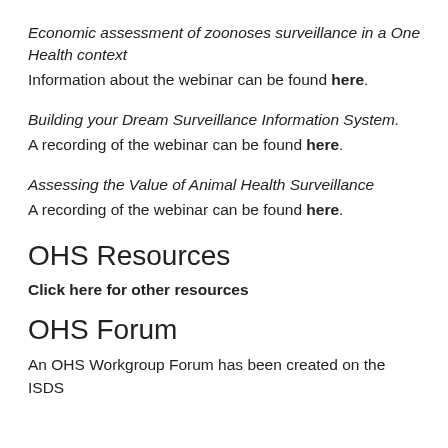Economic assessment of zoonoses surveillance in a One Health context
Information about the webinar can be found here.
Building your Dream Surveillance Information System.
A recording of the webinar can be found here.
Assessing the Value of Animal Health Surveillance
A recording of the webinar can be found here.
OHS Resources
Click here for other resources
OHS Forum
An OHS Workgroup Forum has been created on the ISDS